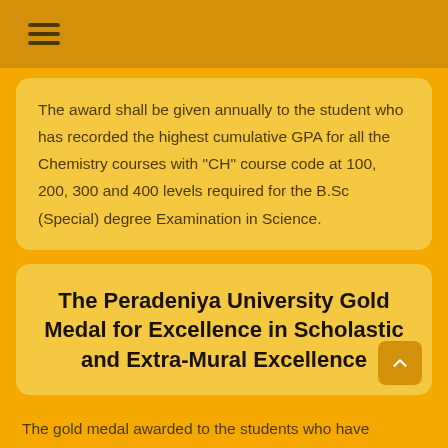The award shall be given annually to the student who has recorded the highest cumulative GPA for all the Chemistry courses with "CH" course code at 100, 200, 300 and 400 levels required for the B.Sc (Special) degree Examination in Science.
The Peradeniya University Gold Medal for Excellence in Scholastic and Extra-Mural Excellence
The gold medal awarded to the students who have